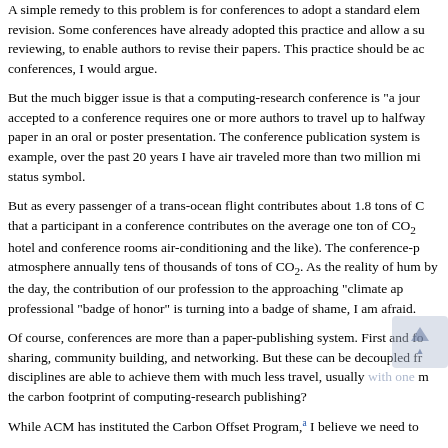A simple remedy to this problem is for conferences to adopt a standard element revision. Some conferences have already adopted this practice and allow a sub reviewing, to enable authors to revise their papers. This practice should be adopted by all conferences, I would argue.
But the much bigger issue is that a computing-research conference is "a journal" accepted to a conference requires one or more authors to travel up to halfway around the world to present a paper in an oral or poster presentation. The conference publication system is example, over the past 20 years I have air traveled more than two million miles, which is considered a status symbol.
But as every passenger of a trans-ocean flight contributes about 1.8 tons of CO2, that a participant in a conference contributes on the average one ton of CO2 (including hotel and conference rooms air-conditioning and the like). The conference-publication system releases into the atmosphere annually tens of thousands of tons of CO2. As the reality of human-induced climate change sinks in by the day, the contribution of our profession to the approaching "climate apocalypse" is undeniable: our professional "badge of honor" is turning into a badge of shame, I am afraid.
Of course, conferences are more than a paper-publishing system. First and foremost, they are about knowledge sharing, community building, and networking. But these can be decoupled from publishing. Other academic disciplines are able to achieve them with much less travel, usually with one meeting per year. Why should the carbon footprint of computing-research publishing?
While ACM has instituted the Carbon Offset Program,a I believe we need to